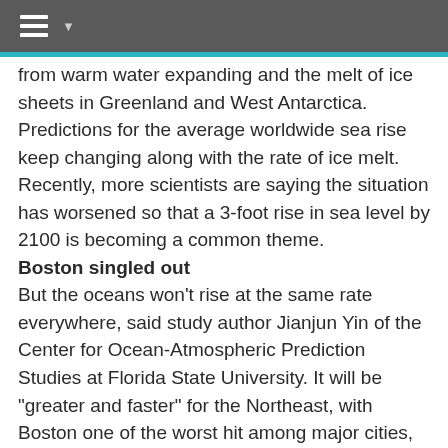≡ ▼
from warm water expanding and the melt of ice sheets in Greenland and West Antarctica. Predictions for the average worldwide sea rise keep changing along with the rate of ice melt. Recently, more scientists are saying the situation has worsened so that a 3-foot rise in sea level by 2100 is becoming a common theme.
Boston singled out
But the oceans won't rise at the same rate everywhere, said study author Jianjun Yin of the Center for Ocean-Atmospheric Prediction Studies at Florida State University. It will be "greater and faster" for the Northeast, with Boston one of the worst hit among major cities, he said. So, if it's 3 feet, add another 8 inches for that region. The explanation involves complicated ocean currents. Computer models forecast that as climate change continues, there will be a slowdown of the great ocean conveyor belt.